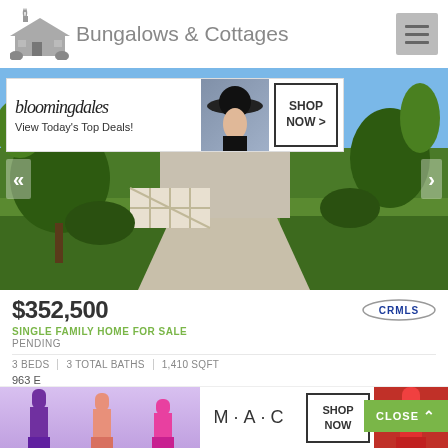[Figure (logo): Bungalows & Cottages logo with house icon]
[Figure (photo): Exterior photo of a single-family home with green lawn, walkway, and trees. Bloomingdale's advertisement overlay at top.]
$352,500
SINGLE FAMILY HOME FOR SALE
PENDING
3 BEDS | 3 TOTAL BATHS | 1,410 SQFT
963 E
Fresno
[Figure (advertisement): MAC cosmetics advertisement with lipstick products showing SHOP NOW button]